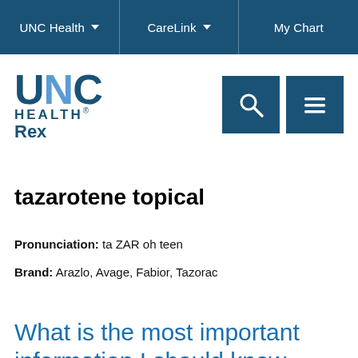UNC Health | CareLink | My Chart
[Figure (logo): UNC Health Rex logo with search and menu icons]
tazarotene topical
Pronunciation: ta ZAR oh teen
Brand: Arazlo, Avage, Fabior, Tazorac
What is the most important information I should know